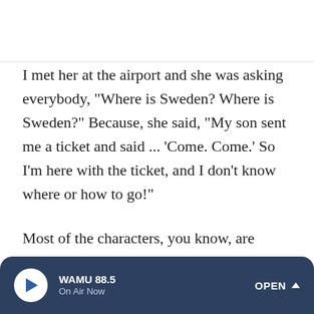I met her at the airport and she was asking everybody, "Where is Sweden? Where is Sweden?" Because, she said, "My son sent me a ticket and said ... 'Come. Come.' So I'm here with the ticket, and I don't know where or how to go!"
Most of the characters, you know, are tragic and comic. For example, in the story "The Gentleman Thief" ... after the revolution, a new category of thieves appeared. They used to be, for example, an employee of a bank or in the Ministry of Justice or something, but they're out of job and they have no
WAMU 88.5 On Air Now OPEN